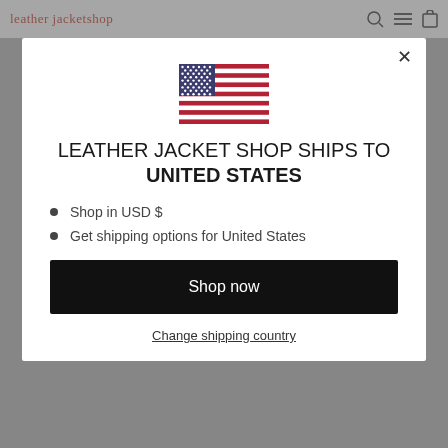leather jacketshop
[Figure (illustration): US flag emoji/icon displayed at center of modal]
LEATHER JACKET SHOP SHIPS TO UNITED STATES
Shop in USD $
Get shipping options for United States
Shop now
Change shipping country